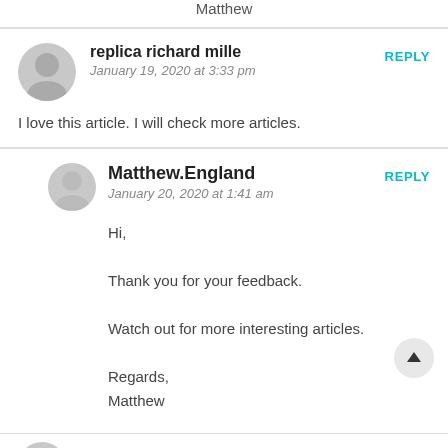Matthew
replica richard mille
January 19, 2020 at 3:33 pm
REPLY
I love this article. I will check more articles.
Matthew.England
January 20, 2020 at 1:41 am
REPLY
Hi,

Thank you for your feedback.

Watch out for more interesting articles.

Regards,
Matthew
REPLY